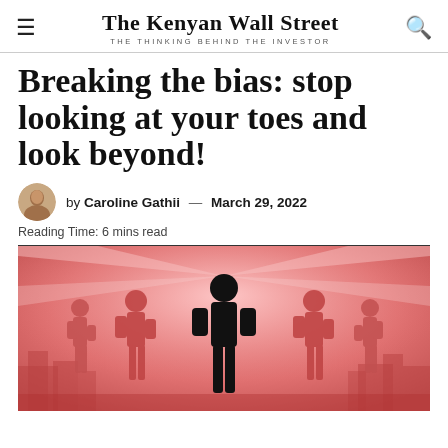The Kenyan Wall Street — THE THINKING BEHIND THE INVESTOR
Breaking the bias: stop looking at your toes and look beyond!
by Caroline Gathii — March 29, 2022
Reading Time: 6 mins read
[Figure (illustration): Silhouettes of women standing in empowered poses against a pink/red radiant background with a city skyline. One central black silhouette stands out among red silhouettes.]